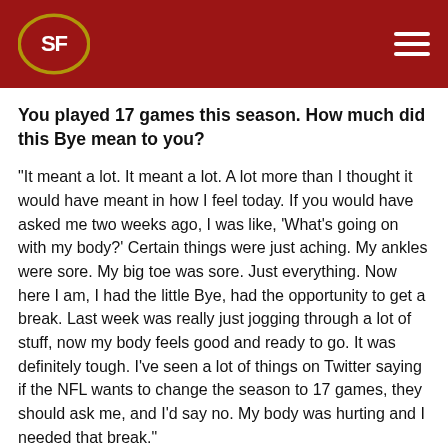San Francisco 49ers header navigation bar
You played 17 games this season. How much did this Bye mean to you?
“It meant a lot. It meant a lot. A lot more than I thought it would have meant in how I feel today. If you would have asked me two weeks ago, I was like, ‘What’s going on with my body?’ Certain things were just aching. My ankles were sore. My big toe was sore. Just everything. Now here I am, I had the little Bye, had the opportunity to get a break. Last week was really just jogging through a lot of stuff, now my body feels good and ready to go. It was definitely tough. I’ve seen a lot of things on Twitter saying if the NFL wants to change the season to 17 games, they should ask me, and I’d say no. My body was hurting and I needed that break.”